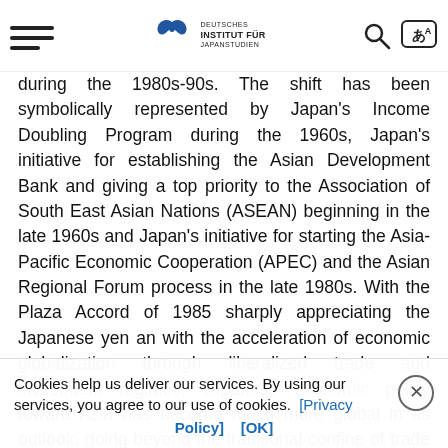Deutsches Institut für Japanstudien
during the 1980s-90s. The shift has been symbolically represented by Japan's Income Doubling Program during the 1960s, Japan's initiative for establishing the Asian Development Bank and giving a top priority to the Association of South East Asian Nations (ASEAN) beginning in the late 1960s and Japan's initiative for starting the Asia-Pacific Economic Cooperation (APEC) and the Asian Regional Forum process in the late 1980s. With the Plaza Accord of 1985 sharply appreciating the Japanese yen an with the acceleration of economic globalization through liberalized trade and investment regimes, Japanese economic policy toward Asia has become much more global in its outlook, going beyond the traditional confine of trade and investment and promoting good governance and people participation and much more collaborative, going beyond its bilateral relations and global peace, stability and prosperity. It's been a long, cautious but steady process of...
Cookies help us deliver our services. By using our services, you agree to our use of cookies. [Privacy Policy] [OK]